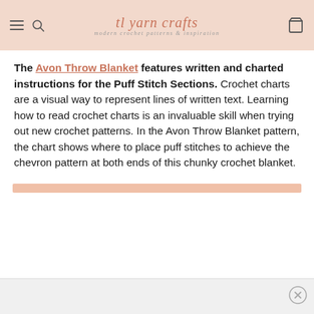tl yarn crafts — modern crochet patterns & inspiration
The Avon Throw Blanket features written and charted instructions for the Puff Stitch Sections. Crochet charts are a visual way to represent lines of written text. Learning how to read crochet charts is an invaluable skill when trying out new crochet patterns. In the Avon Throw Blanket pattern, the chart shows where to place puff stitches to achieve the chevron pattern at both ends of this chunky crochet blanket.